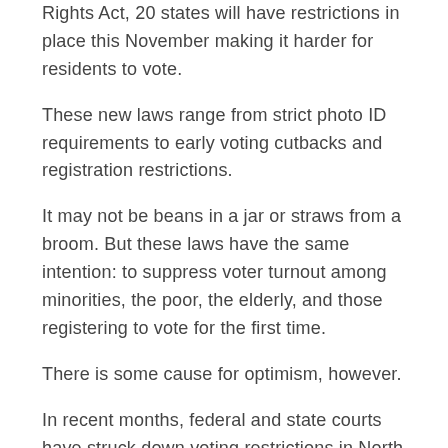Rights Act, 20 states will have restrictions in place this November making it harder for residents to vote.
These new laws range from strict photo ID requirements to early voting cutbacks and registration restrictions.
It may not be beans in a jar or straws from a broom. But these laws have the same intention: to suppress voter turnout among minorities, the poor, the elderly, and those registering to vote for the first time.
There is some cause for optimism, however.
In recent months, federal and state courts have struck down voting restrictions in North Carolina,